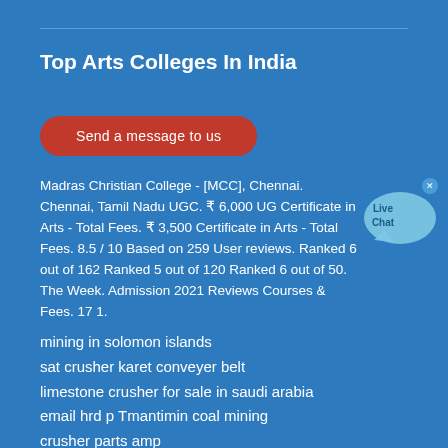Top Arts Colleges In India
Send a message to us
Madras Christian College - [MCC], Chennai. Chennai, Tamil Nadu UGC. ₹ 6,000 UG Certificate in Arts - Total Fees. ₹ 3,500 Certificate in Arts - Total Fees. 8.5 / 10 Based on 259 User reviews. Ranked 6 out of 162 Ranked 5 out of 120 Ranked 6 out of 50. The Week. Admission 2021 Reviews Courses & Fees. 17 1.
mining in solomon islands
sat crusher karet conveyer belt
limestone crusher for sale in saudi arabia
email hrd p Tmantimin coal mining
crusher parts amp